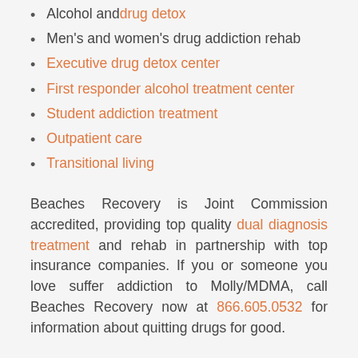Alcohol and drug detox
Men's and women's drug addiction rehab
Executive drug detox center
First responder alcohol treatment center
Student addiction treatment
Outpatient care
Transitional living
Beaches Recovery is Joint Commission accredited, providing top quality dual diagnosis treatment and rehab in partnership with top insurance companies. If you or someone you love suffer addiction to Molly/MDMA, call Beaches Recovery now at 866.605.0532 for information about quitting drugs for good.